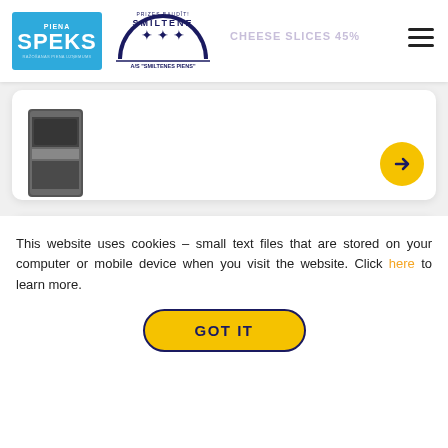[Figure (logo): Piena SPEKS logo - blue background with white text]
[Figure (logo): Smiltene A/S Smiltenes Piens circular logo with birds]
CHEESE SLICES 45%
[Figure (photo): Cheese slices product package photo]
TILZITE CHEESE 45%
[Figure (photo): Tilzite cheese product package - orange rectangular packaging with Smiltene label]
This website uses cookies - small text files that are stored on your computer or mobile device when you visit the website. Click here to learn more.
GOT IT